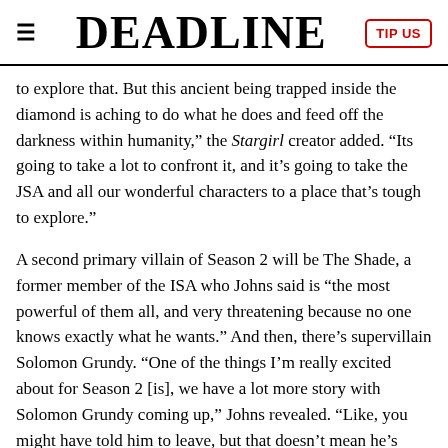DEADLINE
to explore that. But this ancient being trapped inside the diamond is aching to do what he does and feed off the darkness within humanity," the Stargirl creator added. "Its going to take a lot to confront it, and it’s going to take the JSA and all our wonderful characters to a place that’s tough to explore."
A second primary villain of Season 2 will be The Shade, a former member of the ISA who Johns said is “the most powerful of them all, and very threatening because no one knows exactly what he wants.” And then, there’s supervillain Solomon Grundy. “One of the things I’m really excited about for Season 2 [is], we have a lot more story with Solomon Grundy coming up,” Johns revealed. “Like, you might have told him to leave, but that doesn’t mean he’s going to.”
In conversation with his cast, Johns went on to tease storylines involving other supporting characters, including medical pioneer